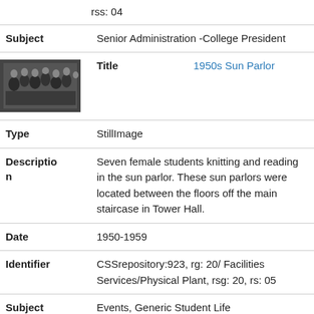rss: 04
| Subject | Senior Administration -College President |
| Title | 1950s Sun Parlor |
| Type | StillImage |
| Description | Seven female students knitting and reading in the sun parlor. These sun parlors were located between the floors off the main staircase in Tower Hall. |
| Date | 1950-1959 |
| Identifier | CSSrepository:923, rg: 20/ Facilities Services/Physical Plant, rsg: 20, rs: 05 |
| Subject | Events, Generic Student Life |
[Figure (photo): Black and white photograph of seven female students knitting and reading in a sun parlor, circa 1950s]